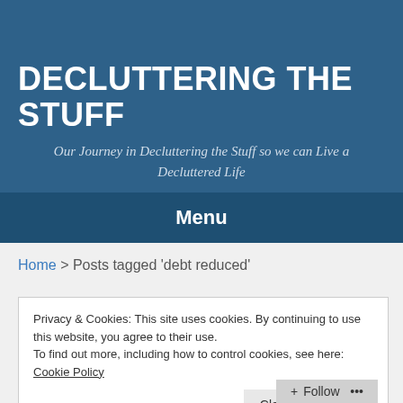DECLUTTERING THE STUFF
Our Journey in Decluttering the Stuff so we can Live a Decluttered Life
Menu
Home > Posts tagged 'debt reduced'
Privacy & Cookies: This site uses cookies. By continuing to use this website, you agree to their use.
To find out more, including how to control cookies, see here: Cookie Policy
Close and accept
Follow